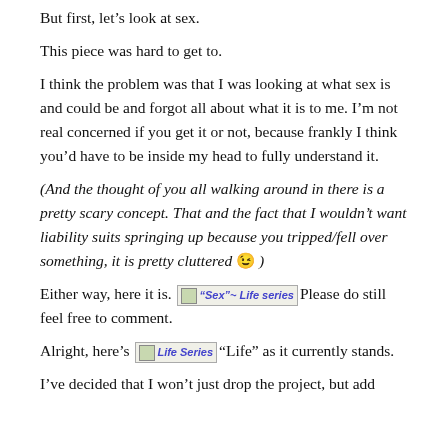But first, let’s look at sex.
This piece was hard to get to.
I think the problem was that I was looking at what sex is and could be and forgot all about what it is to me. I’m not real concerned if you get it or not, because frankly I think you’d have to be inside my head to fully understand it.
(And the thought of you all walking around in there is a pretty scary concept. That and the fact that I wouldn’t want liability suits springing up because you tripped/fell over something, it is pretty cluttered 😉 )
Either way, here it is. [“Sex”~ Life series] Please do still feel free to comment.
Alright, here’s [Life Series] “Life” as it currently stands.
I’ve decided that I won’t just drop the project, but add